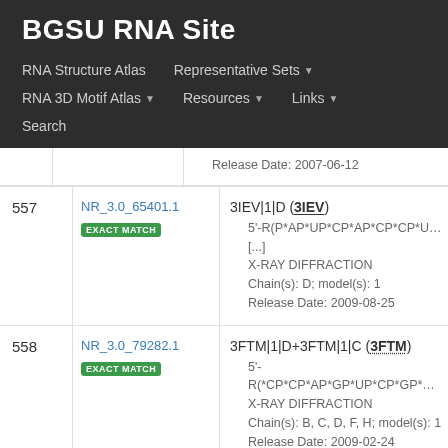BGSU RNA Site
RNA Structure Atlas | Representative Sets | RNA 3D Motif Atlas | Resources | Links | Search
| # | ID | Details |
| --- | --- | --- |
|  |  | Release Date: 2007-06-12 |
| 557 | NR_3.0_65401.1 EXACT MATCH | 3IEV|1|D (3IEV)
5'-R(P*AP*UP*CP*AP*CP*CP*UP*CP*CP [...]
X-RAY DIFFRACTION
Chain(s): D; model(s): 1
Release Date: 2009-08-25 |
| 558 | NR_3.0_79282.1 EXACT MATCH | 3FTM|1|D+3FTM|1|C (3FTM)
5'-R(*CP*CP*AP*GP*UP*CP*GP*GP*AP*AP
X-RAY DIFFRACTION
Chain(s): B, C, D, F, H; model(s): 1
Release Date: 2009-02-24 |